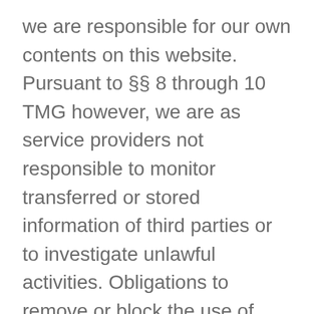we are responsible for our own contents on this website. Pursuant to §§ 8 through 10 TMG however, we are as service providers not responsible to monitor transferred or stored information of third parties or to investigate unlawful activities. Obligations to remove or block the use of information under the general laws remain unaffected. Any liability in this respect may be assumed only after the time we are notified about the respective infringement. As soon as we are aware of any corresponding